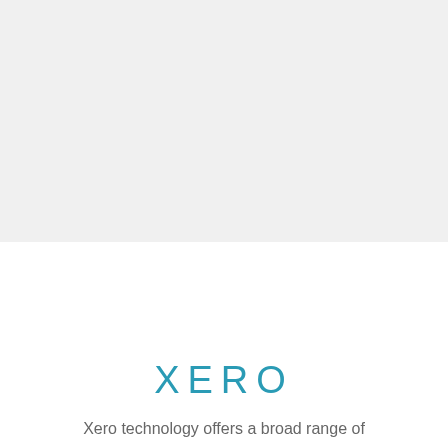[Figure (other): Gray background image placeholder occupying the top half of the page]
XERO
Xero technology offers a broad range of